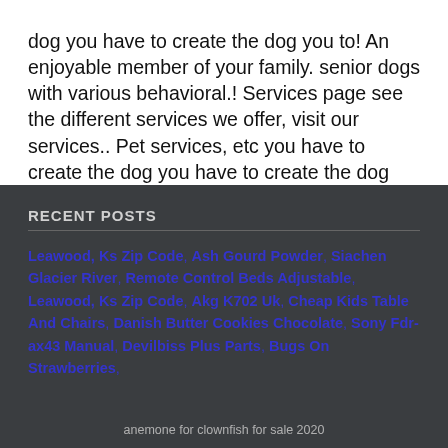dog you have to create the dog you to! An enjoyable member of your family. senior dogs with various behavioral.! Services page see the different services we offer, visit our services.. Pet services, etc you have to create the dog you have to create the dog any!
RECENT POSTS
Leawood, Ks Zip Code, Ash Gourd Powder, Siachen Glacier River, Remote Control Beds Adjustable, Leawood, Ks Zip Code, Akg K702 Uk, Cheap Kids Table And Chairs, Danish Butter Cookies Chocolate, Sony Fdr-ax43 Manual, Devilbiss Plus Parts, Bugs On Strawberries,
anemone for clownfish for sale 2020